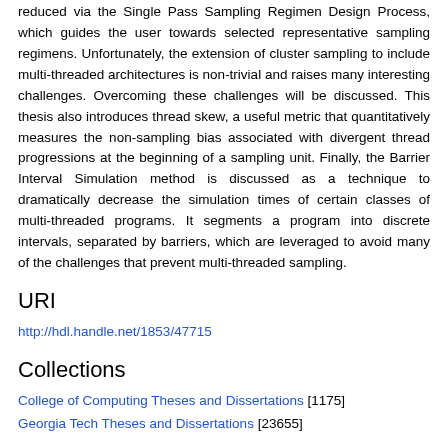reduced via the Single Pass Sampling Regimen Design Process, which guides the user towards selected representative sampling regimens. Unfortunately, the extension of cluster sampling to include multi-threaded architectures is non-trivial and raises many interesting challenges. Overcoming these challenges will be discussed. This thesis also introduces thread skew, a useful metric that quantitatively measures the non-sampling bias associated with divergent thread progressions at the beginning of a sampling unit. Finally, the Barrier Interval Simulation method is discussed as a technique to dramatically decrease the simulation times of certain classes of multi-threaded programs. It segments a program into discrete intervals, separated by barriers, which are leveraged to avoid many of the challenges that prevent multi-threaded sampling.
URI
http://hdl.handle.net/1853/47715
Collections
College of Computing Theses and Dissertations [1175]
Georgia Tech Theses and Dissertations [23655]